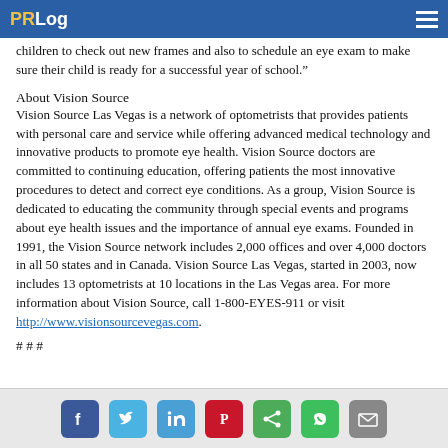PRLog
children to check out new frames and also to schedule an eye exam to make sure their child is ready for a successful year of school.”
About Vision Source
Vision Source Las Vegas is a network of optometrists that provides patients with personal care and service while offering advanced medical technology and innovative products to promote eye health. Vision Source doctors are committed to continuing education, offering patients the most innovative procedures to detect and correct eye conditions. As a group, Vision Source is dedicated to educating the community through special events and programs about eye health issues and the importance of annual eye exams. Founded in 1991, the Vision Source network includes 2,000 offices and over 4,000 doctors in all 50 states and in Canada. Vision Source Las Vegas, started in 2003, now includes 13 optometrists at 10 locations in the Las Vegas area. For more information about Vision Source, call 1-800-EYES-911 or visit http://www.visionsourcevegas.com.
# # #
Social share icons: Facebook, Twitter, LinkedIn, Pinterest, Share, WhatsApp, Email